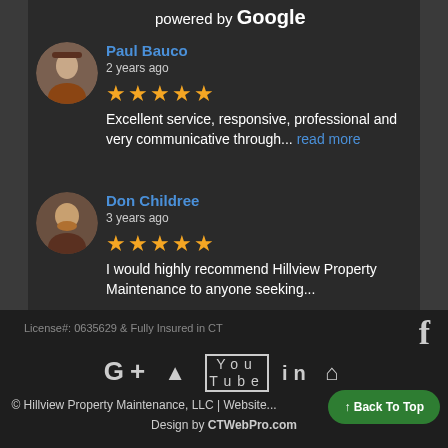powered by Google
[Figure (other): Circular avatar photo of Paul Bauco]
Paul Bauco
2 years ago
★★★★★ Excellent service, responsive, professional and very communicative through... read more
[Figure (other): Circular avatar photo of Don Childree]
Don Childree
3 years ago
★★★★★ I would highly recommend Hillview Property Maintenance to anyone seeking...
License#: 0635629 & Fully Insured in CT
© Hillview Property Maintenance, LLC | Website...
Design by CTWebPro.com